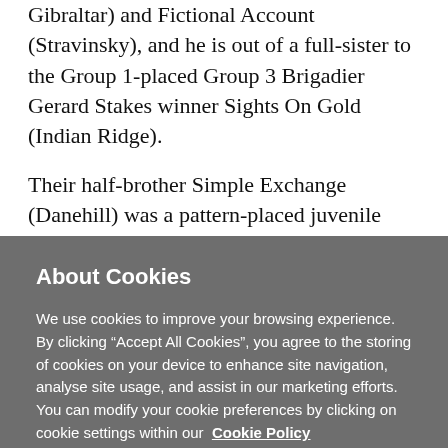Gibraltar) and Fictional Account (Stravinsky), and he is out of a full-sister to the Group 1-placed Group 3 Brigadier Gerard Stakes winner Sights On Gold (Indian Ridge).
Their half-brother Simple Exchange (Danehill) was a pattern-placed juvenile stakes winner in Ireland before adding the Grade 2 American Derby at Arlington, whereas Designs On Rome was a multiple
About Cookies
We use cookies to improve your browsing experience. By clicking "Accept All Cookies", you agree to the storing of cookies on your device to enhance site navigation, analyse site usage, and assist in our marketing efforts. You can modify your cookie preferences by clicking on cookie settings within our Cookie Policy